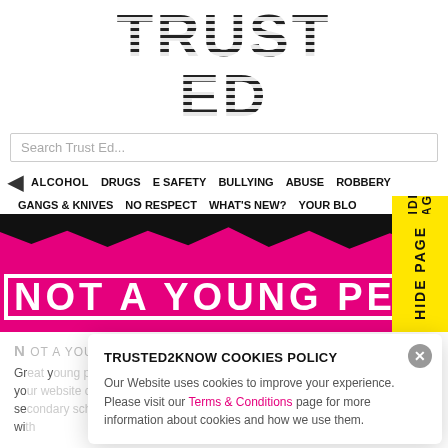TRUSTED
Search Trust Ed...
ALCOHOL  DRUGS  E SAFETY  BULLYING  ABUSE  ROBBERY
GANGS & KNIVES  NO RESPECT  WHAT'S NEW?  YOUR BLO...  HIDE PAGE
[Figure (illustration): Pink and black hero banner with large bold text reading NOT A YOUNG PERSON? with a HIDE PAGE yellow button on the right side]
NOT A YOUNG PERSON?
Gr... (truncated body text about young persons)
TRUSTED2KNOW COOKIES POLICY
Our Website uses cookies to improve your experience. Please visit our Terms & Conditions page for more information about cookies and how we use them.